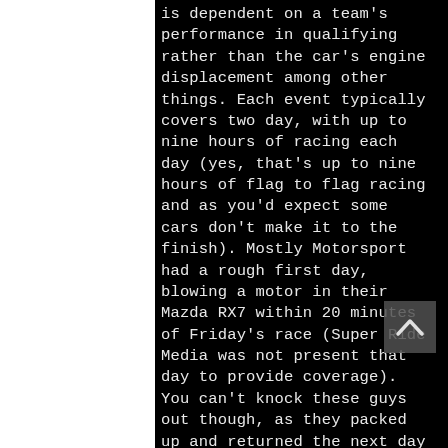is dependent on a team's performance in qualifying rather than the car's engine displacement among other things. Each event typically covers two day, with up to nine hours of racing each day (yes, that's up to nine hours of flag to flag racing and as you'd expect some cars don't make it to the finish). Mostly Motorsport had a rough first day, blowing a motor in their Mazda RX7 within 20 minutes of Friday's race (Super Ride Media was not present that day to provide coverage). You can't knock these guys out though, as they packed up and returned the next day with an entirely different car. They showed up Saturday in a car they've done a season or two in, their BMW 3 Series. After dropping a new, fully built engine into the 3 Series a few seasons back,